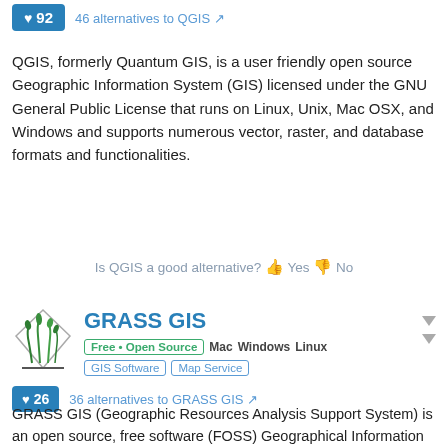[Figure (other): Blue vote button showing heart icon and number 92]
46 alternatives to QGIS
QGIS, formerly Quantum GIS, is a user friendly open source Geographic Information System (GIS) licensed under the GNU General Public License that runs on Linux, Unix, Mac OSX, and Windows and supports numerous vector, raster, and database formats and functionalities.
Is QGIS a good alternative? Yes No
[Figure (logo): GRASS GIS logo: diamond shape with green grass/reeds illustration]
GRASS GIS
Free • Open Source  Mac  Windows  Linux  GIS Software  Map Service
[Figure (other): Blue vote button showing heart icon and number 26]
36 alternatives to GRASS GIS
GRASS GIS (Geographic Resources Analysis Support System) is an open source, free software (FOSS) Geographical Information System (GIS) with raster, topological, vector, image processing, and visualization functionality.